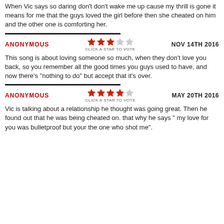When Vic says so daring don't don't wake me up cause my thrill is gone it means for me that the guys loved the girl before then she cheated on him and the other one is comforting her.
ANONYMOUS   CLICK A STAR TO VOTE   NOV 14TH 2016
This song is about loving someone so much, when they don't love you back, so you remember all the good times you guys used to have, and now there's "nothing to do" but accept that it's over.
ANONYMOUS   CLICK A STAR TO VOTE   MAY 20TH 2016
Vic is talking about a relationship he thought was going great. Then he found out that he was being cheated on. that why he says " my love for you was bulletproof but your the one who shot me".